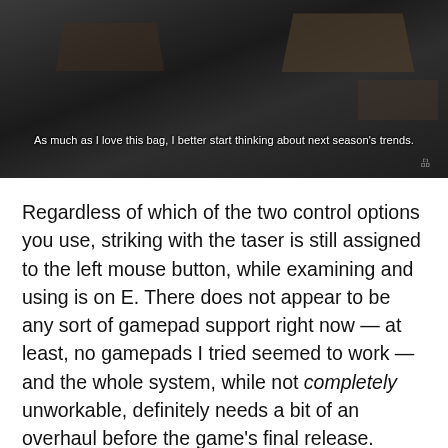[Figure (screenshot): Dark screenshot from a game showing a classroom interior with desks, with subtitle text reading: 'As much as I love this bag, I better start thinking about next season's trends.']
Regardless of which of the two control options you use, striking with the taser is still assigned to the left mouse button, while examining and using is on E. There does not appear to be any sort of gamepad support right now — at least, no gamepads I tried seemed to work — and the whole system, while not completely unworkable, definitely needs a bit of an overhaul before the game's final release. Gamepad support should be a given for a game hoping to pay homage to the PS1 era, after all!
Kanpeki gets particularly interesting once you discover